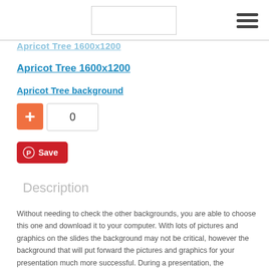Apricot Tree 1600x1200
Apricot Tree background
0
Save
Description
Without needing to check the other backgrounds, you are able to choose this one and download it to your computer. With lots of pictures and graphics on the slides the background may not be critical, however the background that will put forward the pictures and graphics for your presentation much more successful. During a presentation, the backgrounds are the first to draw audience attention. By using this background means; you are able to use all hot and